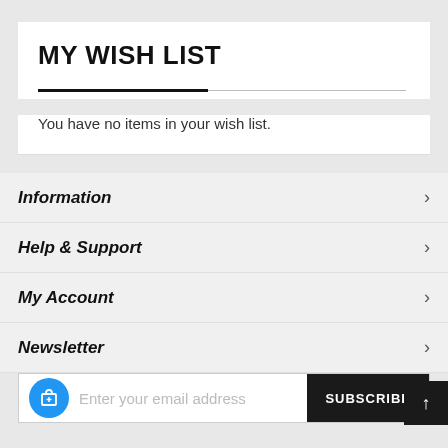MY WISH LIST
You have no items in your wish list.
Information
Help & Support
My Account
Newsletter
Enter your email address
SUBSCRIBE